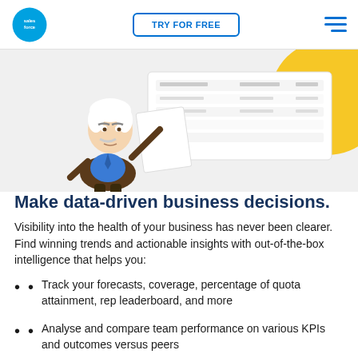salesforce | TRY FOR FREE | [hamburger menu]
[Figure (illustration): Salesforce Einstein character (cartoon professor with white hair and mustache, wearing brown jacket and blue vest) pointing at a dashboard/report interface showing data tables. A large yellow circle is visible in the background top-right. The scene is on a light grey background.]
Make data-driven business decisions.
Visibility into the health of your business has never been clearer. Find winning trends and actionable insights with out-of-the-box intelligence that helps you:
Track your forecasts, coverage, percentage of quota attainment, rep leaderboard, and more
Analyse and compare team performance on various KPIs and outcomes versus peers
Tailor dashboards with configurable metrics to fit your business model